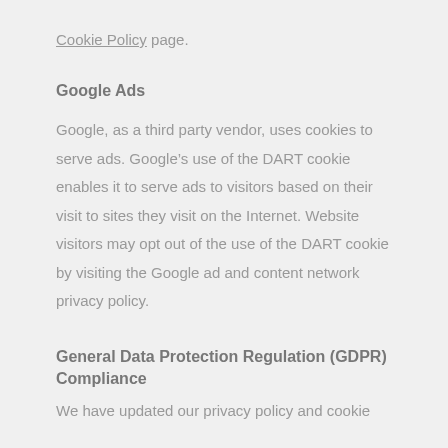Cookie Policy page.
Google Ads
Google, as a third party vendor, uses cookies to serve ads. Google's use of the DART cookie enables it to serve ads to visitors based on their visit to sites they visit on the Internet. Website visitors may opt out of the use of the DART cookie by visiting the Google ad and content network privacy policy.
General Data Protection Regulation (GDPR) Compliance
We have updated our privacy policy and cookie